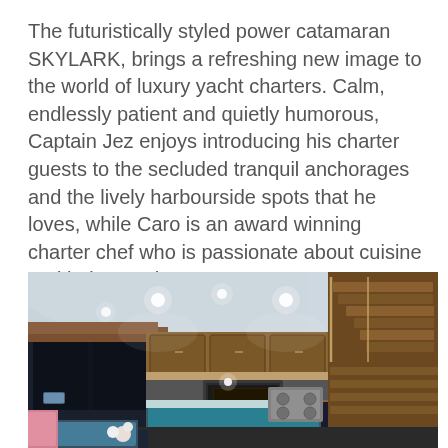The futuristically styled power catamaran SKYLARK, brings a refreshing new image to the world of luxury yacht charters. Calm, endlessly patient and quietly humorous, Captain Jez enjoys introducing his charter guests to the secluded tranquil anchorages and the lively harbourside spots that he loves, while Caro is an award winning charter chef who is passionate about cuisine and being on the sea.
[Figure (photo): Interior photograph of the SKYLARK power catamaran showing the saloon and galley area with warm wood paneling, recessed ceiling lights, teal/blue accents on the kitchen island, stainless steel appliances, large windows looking out to darkness, and a staircase on the right side.]